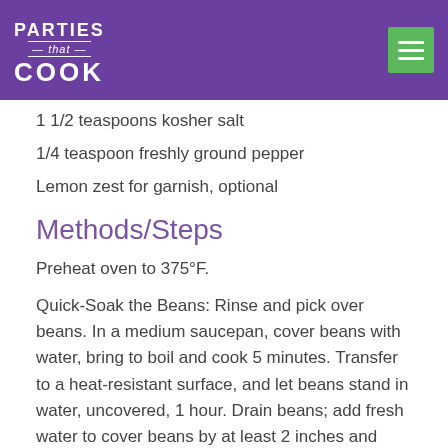PARTIES that COOK
1 1/2 teaspoons kosher salt
1/4 teaspoon freshly ground pepper
Lemon zest for garnish, optional
Methods/Steps
Preheat oven to 375°F.
Quick-Soak the Beans: Rinse and pick over beans. In a medium saucepan, cover beans with water, bring to boil and cook 5 minutes. Transfer to a heat-resistant surface, and let beans stand in water, uncovered, 1 hour. Drain beans; add fresh water to cover beans by at least 2 inches and return to medium heat. Simmer until soft and tender, about 45 minutes. Set aside.